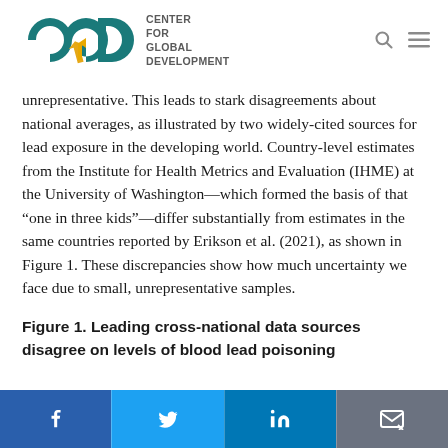Center for Global Development
unrepresentative. This leads to stark disagreements about national averages, as illustrated by two widely-cited sources for lead exposure in the developing world. Country-level estimates from the Institute for Health Metrics and Evaluation (IHME) at the University of Washington—which formed the basis of that “one in three kids”—differ substantially from estimates in the same countries reported by Erikson et al. (2021), as shown in Figure 1. These discrepancies show how much uncertainty we face due to small, unrepresentative samples.
Figure 1. Leading cross-national data sources disagree on levels of blood lead poisoning
[Figure (other): Social media sharing bar with Facebook, Twitter, LinkedIn, and email icons]